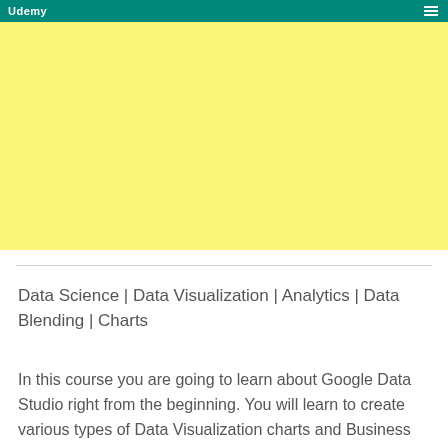Udemy
[Figure (other): Yellow banner/thumbnail placeholder area for a course]
Data Science | Data Visualization | Analytics | Data Blending | Charts
In this course you are going to learn about Google Data Studio right from the beginning. You will learn to create various types of Data Visualization charts and Business